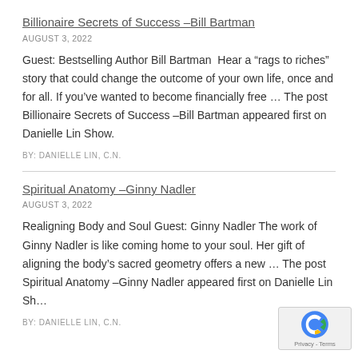Billionaire Secrets of Success –Bill Bartman
AUGUST 3, 2022
Guest: Bestselling Author Bill Bartman  Hear a “rags to riches” story that could change the outcome of your own life, once and for all. If you’ve wanted to become financially free … The post Billionaire Secrets of Success –Bill Bartman appeared first on Danielle Lin Show.
BY: DANIELLE LIN, C.N.
Spiritual Anatomy –Ginny Nadler
AUGUST 3, 2022
Realigning Body and Soul Guest: Ginny Nadler The work of Ginny Nadler is like coming home to your soul. Her gift of aligning the body’s sacred geometry offers a new … The post Spiritual Anatomy –Ginny Nadler appeared first on Danielle Lin Sh…
BY: DANIELLE LIN, C.N.